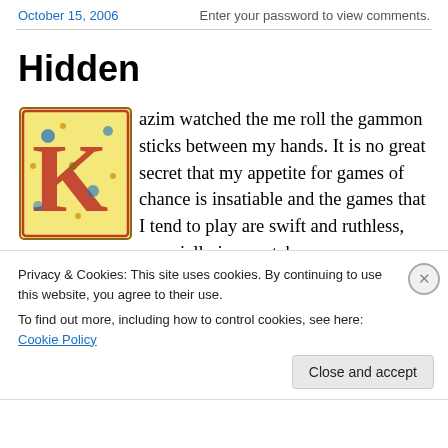October 15, 2006 | Enter your password to view comments.
Hidden
[Figure (illustration): Decorative illuminated letter K with ornate red, gold, and blue medieval style illustration]
azim watched the me roll the gammon sticks between my hands. It is no great secret that my appetite for games of chance is insatiable and the games that I tend to play are swift and ruthless, especially in a match
Privacy & Cookies: This site uses cookies. By continuing to use this website, you agree to their use.
To find out more, including how to control cookies, see here: Cookie Policy